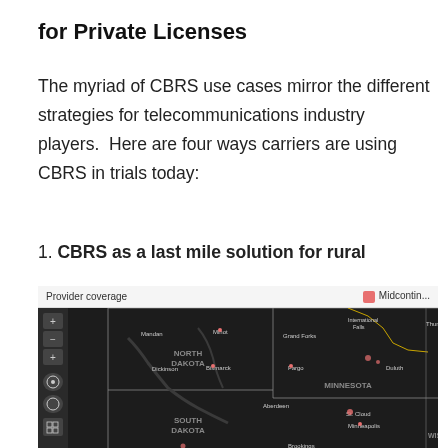for Private Licenses
The myriad of CBRS use cases mirror the different strategies for telecommunications industry players.  Here are four ways carriers are using CBRS in trials today:
1. CBRS as a last mile solution for rural
[Figure (map): A dark-themed map showing provider coverage in the upper Midwest United States, including North Dakota, South Dakota, Minnesota, and Wisconsin. The map shows city labels including Bismarck, Dickinson, Fargo, Grand Forks, Minot, Mandan, International Falls, Duluth, Minneapolis, St. Cloud, Aberdeen, Brookings, Mitchell, Sioux Falls, Rapid City, Giants, Rochester. A pink/red legend item labeled 'Midcontin...' is shown in the top right of the map header. The map has zoom controls (+, –, +) and navigation icons on the left side.]